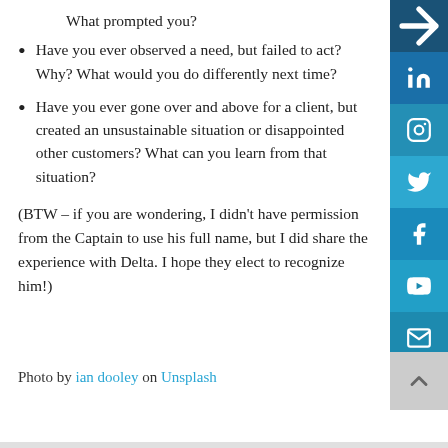What prompted you?
Have you ever observed a need, but failed to act? Why? What would you do differently next time?
Have you ever gone over and above for a client, but created an unsustainable situation or disappointed other customers? What can you learn from that situation?
(BTW – if you are wondering, I didn't have permission from the Captain to use his full name, but I did share the experience with Delta. I hope they elect to recognize him!)
Photo by ian dooley on Unsplash
[Figure (infographic): Social media sharing sidebar with icons for LinkedIn, Instagram, Twitter, Facebook, YouTube, and Email on a blue background, plus a back-to-top scroll button]